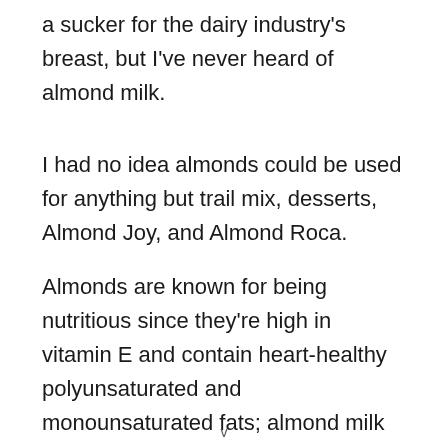a sucker for the dairy industry's breast, but I've never heard of almond milk.
I had no idea almonds could be used for anything but trail mix, desserts, Almond Joy, and Almond Roca.
Almonds are known for being nutritious since they're high in vitamin E and contain heart-healthy polyunsaturated and monounsaturated fats; almond milk has all of the advantages of almonds but is lower in calories than conventional milk; and almond eyes captivate me.
Original and vanilla flavors are available in Silk's version of
v